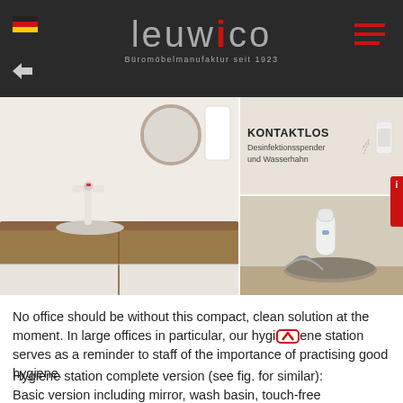Leuwico – Büromöbelmanufaktur seit 1923
[Figure (photo): Website screenshot showing Leuwico logo on dark header, with product images of contactless hand sanitizer dispenser and touchless faucet (KONTAKTLOS – Desinfektionsspender und Wasserhahn), and a kitchen/washroom vanity scene]
No office should be without this compact, clean solution at the moment. In large offices in particular, our hygiene station serves as a reminder to staff of the importance of practising good hygiene.
Hygiene station complete version (see fig. for similar): Basic version including mirror, wash basin, touch-free